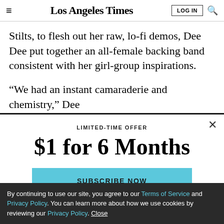Los Angeles Times
Stilts, to flesh out her raw, lo-fi demos, Dee Dee put together an all-female backing band consistent with her girl-group inspirations.
“We had an instant camaraderie and chemistry,” Dee
LIMITED-TIME OFFER
$1 for 6 Months
SUBSCRIBE NOW
By continuing to use our site, you agree to our Terms of Service and Privacy Policy. You can learn more about how we use cookies by reviewing our Privacy Policy. Close